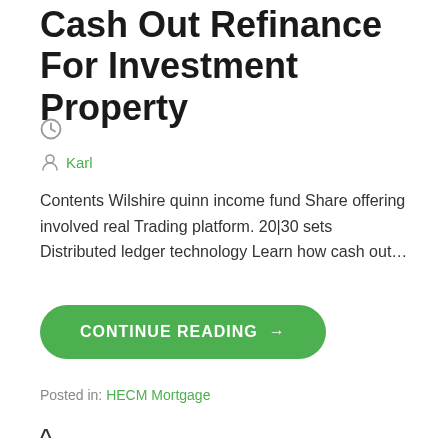Cash Out Refinance For Investment Property
Karl
Contents Wilshire quinn income fund Share offering involved real Trading platform. 20|30 sets Distributed ledger technology Learn how cash out…
CONTINUE READING →
Posted in: HECM Mortgage
^